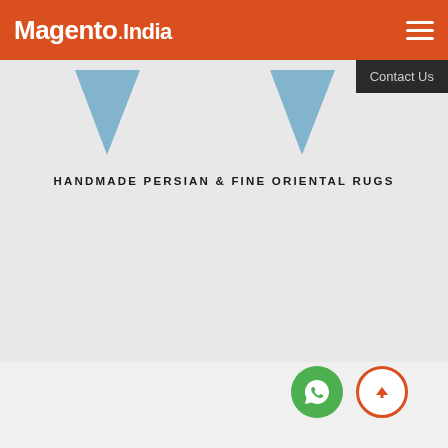Magento.India
[Figure (screenshot): Website screenshot showing Magento.India header with orange background, navigation hamburger menu, Contact Us button, a banner section with blue triangles and text 'HANDMADE PERSIAN & FINE ORIENTAL RUGS', an AlkaViva logo card, and floating WhatsApp and scroll-up buttons]